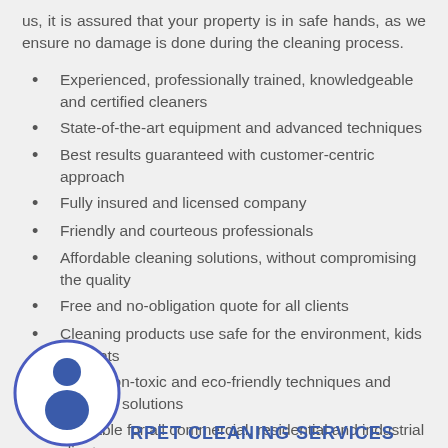us, it is assured that your property is in safe hands, as we ensure no damage is done during the cleaning process.
Experienced, professionally trained, knowledgeable and certified cleaners
State-of-the-art equipment and advanced techniques
Best results guaranteed with customer-centric approach
Fully insured and licensed company
Friendly and courteous professionals
Affordable cleaning solutions, without compromising the quality
Free and no-obligation quote for all clients
Cleaning products use safe for the environment, kids and pets
100% non-toxic and eco-friendly techniques and cleaning solutions
Available for all commercial, residential and industrial clients
[Figure (logo): Circular logo with a blue person/cleaner silhouette icon on a white circle with blue border]
RPET CLEANING SERVICES